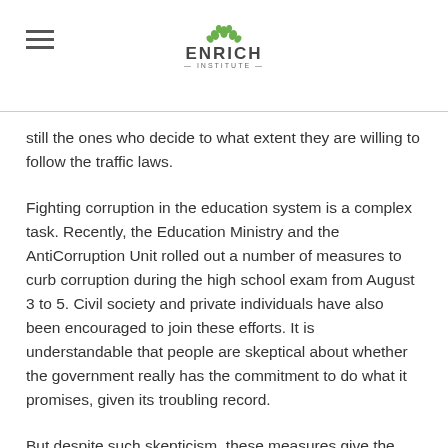ENRICH INSTITUTE
still the ones who decide to what extent they are willing to follow the traffic laws.
Fighting corruption in the education system is a complex task. Recently, the Education Ministry and the AntiCorruption Unit rolled out a number of measures to curb corruption during the high school exam from August 3 to 5. Civil society and private individuals have also been encouraged to join these efforts. It is understandable that people are skeptical about whether the government really has the commitment to do what it promises, given its troubling record.
But despite such skepticism, these measures give the government the best chance to take on one of the toughest governance issues, and prove to the public that they are really serious about education reforms this time around.